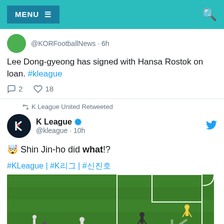MENU ☰  [search icon]
@KORFootballNews · 6h
Lee Dong-gyeong has signed with Hansa Rostok on loan. #kleague
💬 2  🤍 18
↺ K League United Retweeted
K League ✔ @kleague · 10h
🤯 Shin Jin-ho did what!?
#KLeague | #K리그 | #신진호